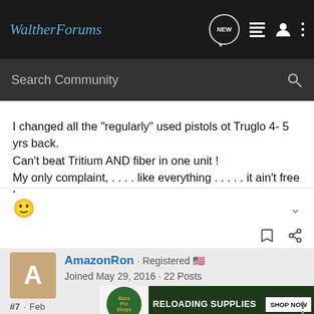WaltherForums
I changed all the "regularly" used pistols ot Truglo 4- 5 yrs back. Can't beat Tritium AND fiber in one unit ! My only complaint, . . . . like everything . . . . . it ain't free !
AmazonRon · Registered · Joined May 29, 2016 · 22 Posts
#7 · Feb
[Figure (screenshot): Bass Pro Shops ad banner: RELOADING SUPPLIES with SHOP NOW button]